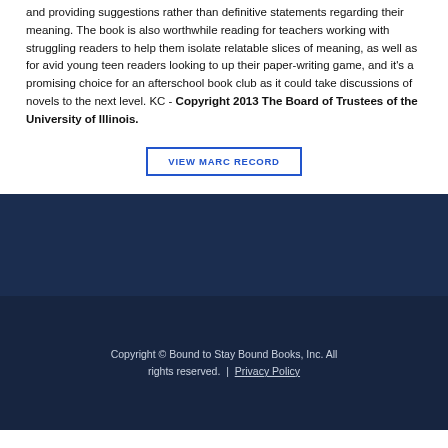and providing suggestions rather than definitive statements regarding their meaning. The book is also worthwhile reading for teachers working with struggling readers to help them isolate relatable slices of meaning, as well as for avid young teen readers looking to up their paper-writing game, and it's a promising choice for an afterschool book club as it could take discussions of novels to the next level. KC - Copyright 2013 The Board of Trustees of the University of Illinois.
VIEW MARC RECORD
Copyright © Bound to Stay Bound Books, Inc. All rights reserved. | Privacy Policy